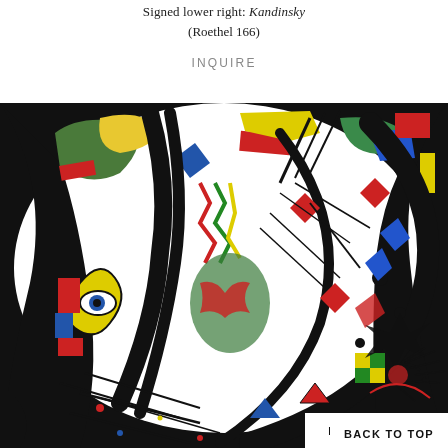Signed lower right: Kandinsky
(Roethel 166)
INQUIRE
[Figure (photo): A colorful abstract artwork by Kandinsky featuring bold black lines, geometric shapes, and vibrant colors including red, blue, yellow, and green on a white and black background. The composition is dense with dynamic lines, triangles, circles, and abstract forms. There is a 'BACK TO TOP' button overlaid in the bottom right corner.]